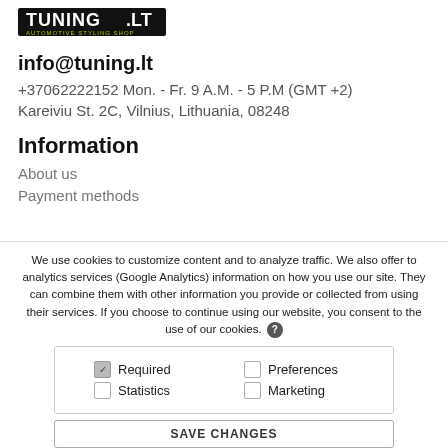[Figure (logo): Tuning.lt automotive styling shop logo]
info@tuning.lt
+37062222152 Mon. - Fr. 9 A.M. - 5 P.M (GMT +2)
Kareiviu St. 2C, Vilnius, Lithuania, 08248
Information
About us
Payment methods
We use cookies to customize content and to analyze traffic. We also offer to analytics services (Google Analytics) information on how you use our site. They can combine them with other information you provide or collected from using their services. If you choose to continue using our website, you consent to the use of our cookies.
Required (checked), Preferences (unchecked), Statistics (unchecked), Marketing (unchecked)
SAVE CHANGES